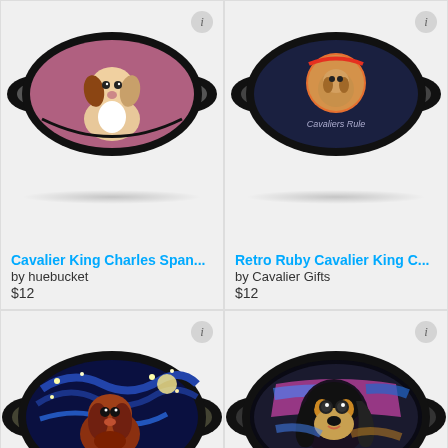[Figure (photo): Face mask with mauve/pink background featuring Cavalier King Charles Spaniel dog illustration]
Cavalier King Charles Span...
by huebucket
$12
[Figure (photo): Face mask with navy blue background featuring retro-style Ruby Cavalier King Charles dog photo with 'Cavaliers Rule' text]
Retro Ruby Cavalier King C...
by Cavalier Gifts
$12
[Figure (photo): Face mask featuring Cavalier King Charles Spaniel in Van Gogh Starry Night style painting]
[Figure (photo): Face mask featuring colorful abstract pop-art style Cavalier King Charles Spaniel dog]